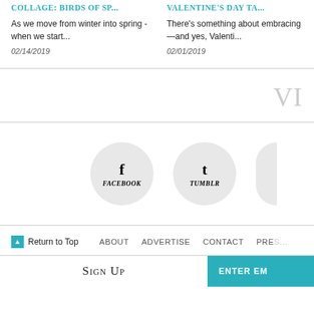COLLAGE: BIRDS OF SP...
As we move from winter into spring - when we start...
02/14/2019
VALENTINE'S DAY TA...
There's something about embracing—and yes, Valenti...
02/01/2019
VI
[Figure (illustration): Facebook social circle button with 'f' icon and FACEBOOK label]
[Figure (illustration): Tumblr social circle button with 't' icon and TUMBLR label]
Return to Top
ABOUT   ADVERTISE   CONTACT   PRE...
Sign Up
ENTER EM...